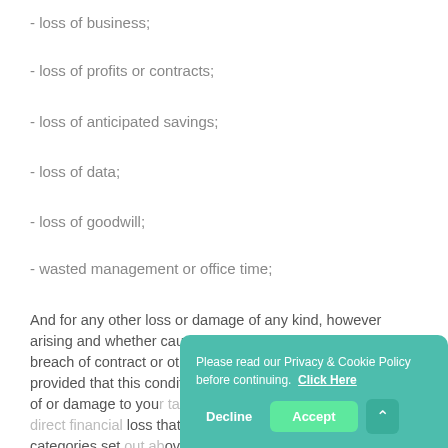- loss of business;
- loss of profits or contracts;
- loss of anticipated savings;
- loss of data;
- loss of goodwill;
- wasted management or office time;
And for any other loss or damage of any kind, however arising and whether caused by tort (including negligence), breach of contract or otherwise, even if foreseeable, provided that this condition shall not prevent claims for loss of or damage to your tangible property or any claims for direct financial loss that are not excluded by any of the categories set out above.